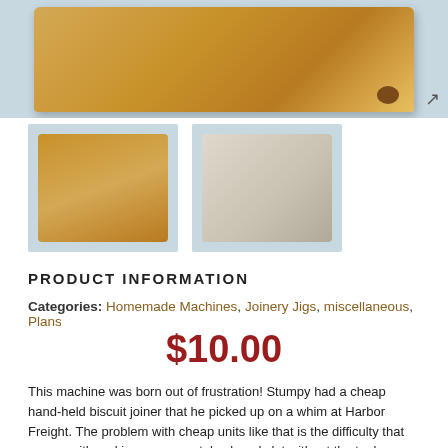[Figure (illustration): 3D illustration of a bench-top biscuit joiner woodworking machine, light blue background, with expand icon in corner]
[Figure (photo): Thumbnail photo of bench-top biscuit joiner from front angle, light blue background]
[Figure (illustration): Thumbnail technical/schematic illustration of biscuit joiner cross-section, light blue background]
PRODUCT INFORMATION
Categories: Homemade Machines, Joinery Jigs, miscellaneous, Plans
$10.00
This machine was born out of frustration! Stumpy had a cheap hand-held biscuit joiner that he picked up on a whim at Harbor Freight. The problem with cheap units like that is the difficulty that comes with making an accurately placed slot without the tool rocking out of position during the cut!  So, like any good woodworker, Stumpy set out to find a solution. And the result is a bench top unit that can make a cheap tool into something easier to use than even the expensive hand-held versions.  The Bench-top Biscuit Joiner is fast and accurate, inexpensive to build, and has dozens of uses. It's great